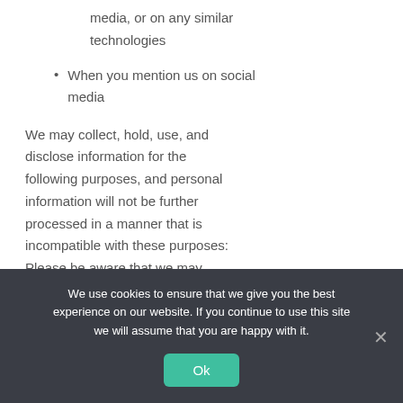media, or on any similar technologies
When you mention us on social media
We may collect, hold, use, and disclose information for the following purposes, and personal information will not be further processed in a manner that is incompatible with these purposes: Please be aware that we may
We use cookies to ensure that we give you the best experience on our website. If you continue to use this site we will assume that you are happy with it.